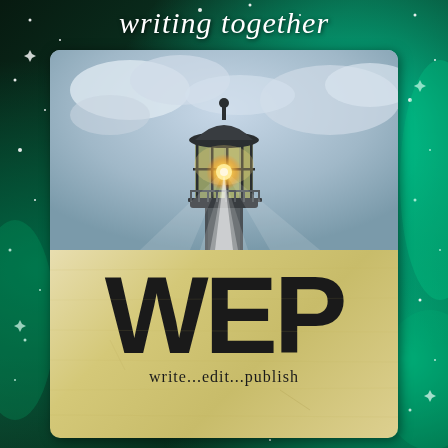writing together
[Figure (illustration): A stylized watercolor-like illustration of a lighthouse lantern room from below, showing glowing warm light radiating outward with dramatic beams, set against cloudy sky]
[Figure (logo): WEP logo on aged parchment/yellowed background with large bold black letters WEP and tagline 'write...edit...publish' below]
write...edit...publish